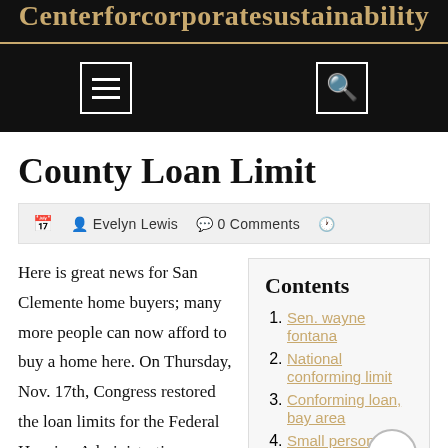Centerforcorporatesustainability
County Loan Limit
Evelyn Lewis  0 Comments
Here is great news for San Clemente home buyers; many more people can now afford to buy a home here. On Thursday, Nov. 17th, Congress restored the loan limits for the Federal Housing Administration
Contents
1. Sen. wayne fontana
2. National conforming limit
3. Conforming loan, bay area
4. Small personal loans